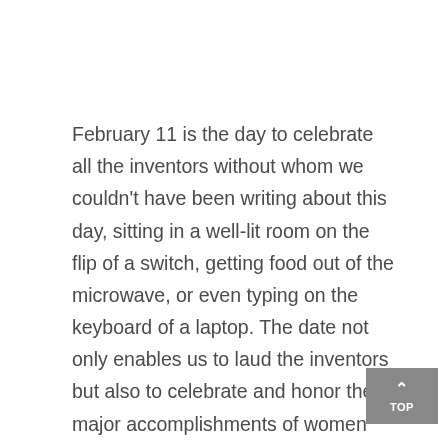February 11 is the day to celebrate all the inventors without whom we couldn't have been writing about this day, sitting in a well-lit room on the flip of a switch, getting food out of the microwave, or even typing on the keyboard of a laptop. The date not only enables us to laud the inventors but also to celebrate and honor the major accomplishments of women and girls in science. And to concentrate even more on girls who are into Science, Technology, and Engineering (STEM) professions. This day is an opportunity to empower women and girls to have complete and equitable access to and involvement in science.